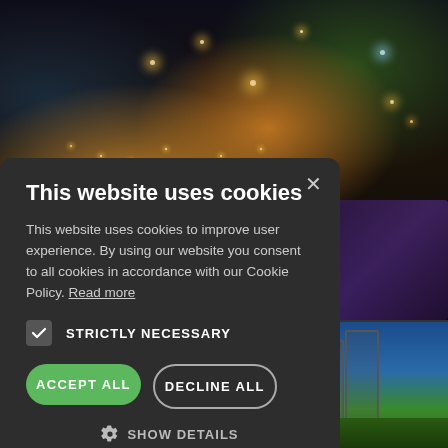[Figure (photo): Night photo of a city scene with string lights along a bridge/railing, illuminated buildings in the background against a dark sky]
[Figure (photo): Daytime photo of a formal garden with manicured hedges, cypress trees, and garden structures against a blue sky]
This website uses cookies
This website uses cookies to improve user experience. By using our website you consent to all cookies in accordance with our Cookie Policy. Read more
STRICTLY NECESSARY
ACCEPT ALL
DECLINE ALL
SHOW DETAILS